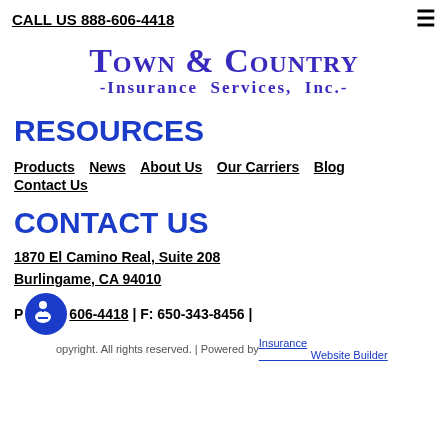CALL US 888-606-4418
[Figure (logo): Town & Country Insurance Services, Inc. logo in purple serif font]
RESOURCES
Products  News  About Us  Our Carriers  Blog  Contact Us
CONTACT US
1870 El Camino Real, Suite 208
Burlingame, CA 94010
P: 888-606-4418 | F: 650-343-8456 |
Copyright. All rights reserved. | Powered by Insurance Website Builder